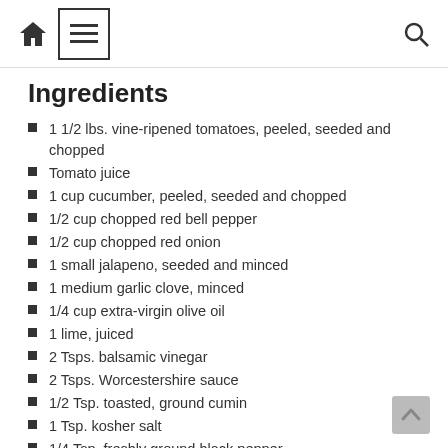[home icon] [menu icon] [search icon]
Ingredients
1 1/2 lbs. vine-ripened tomatoes, peeled, seeded and chopped
Tomato juice
1 cup cucumber, peeled, seeded and chopped
1/2 cup chopped red bell pepper
1/2 cup chopped red onion
1 small jalapeno, seeded and minced
1 medium garlic clove, minced
1/4 cup extra-virgin olive oil
1 lime, juiced
2 Tsps. balsamic vinegar
2 Tsps. Worcestershire sauce
1/2 Tsp. toasted, ground cumin
1 Tsp. kosher salt
1/4 Tsp. freshly ground black pepper
2 Tbsps. fresh basil leaves, chiffonade
Directions